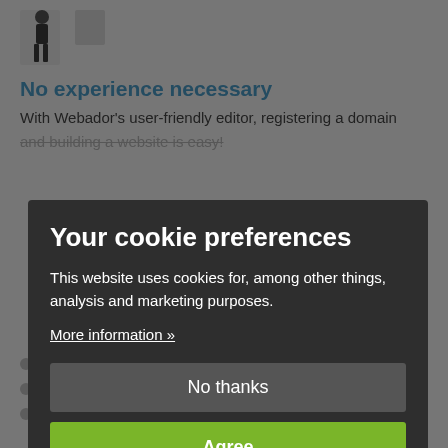[Figure (illustration): Person silhouette figure icon at top of page background]
No experience necessary
With Webador's user-friendly editor, registering a domain and building a website is easy!
Your cookie preferences
This website uses cookies for, among other things, analysis and marketing purposes.
More information »
No thanks
Agree
A unique domain name adds a professional touch
Better Google search engine ranking
More visitors: easier to find and remember